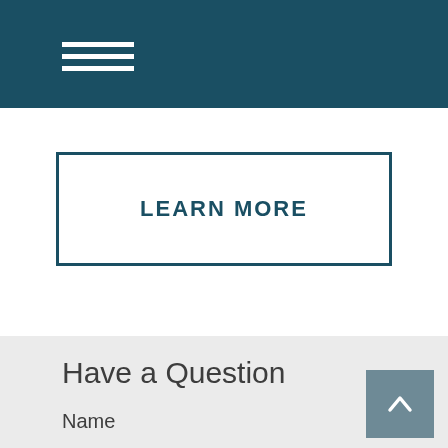LEARN MORE
Have a Question
Name